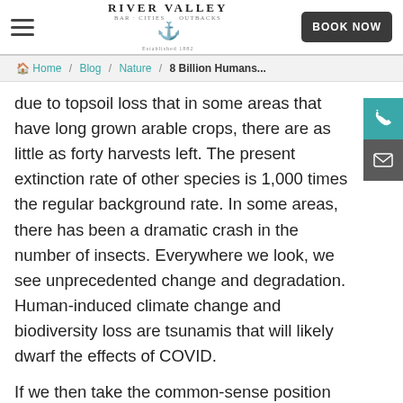River Valley — BOOK NOW
Home / Blog / Nature / 8 Billion Humans...
due to topsoil loss that in some areas that have long grown arable crops, there are as little as forty harvests left. The present extinction rate of other species is 1,000 times the regular background rate. In some areas, there has been a dramatic crash in the number of insects. Everywhere we look, we see unprecedented change and degradation. Human-induced climate change and biodiversity loss are tsunamis that will likely dwarf the effects of COVID.
If we then take the common-sense position that we (humans beings) need to have healthy ecosystems to